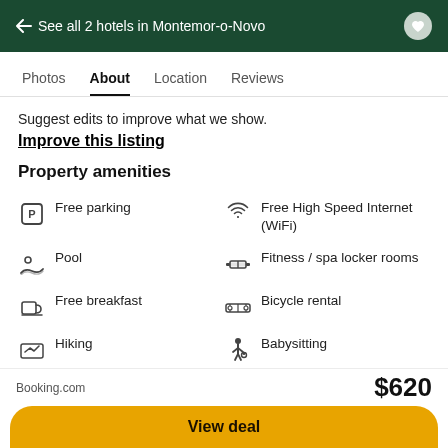← See all 2 hotels in Montemor-o-Novo
Photos  About  Location  Reviews
Suggest edits to improve what we show.
Improve this listing
Property amenities
Free parking
Free High Speed Internet (WiFi)
Pool
Fitness / spa locker rooms
Free breakfast
Bicycle rental
Hiking
Babysitting
Booking.com  $620  View deal